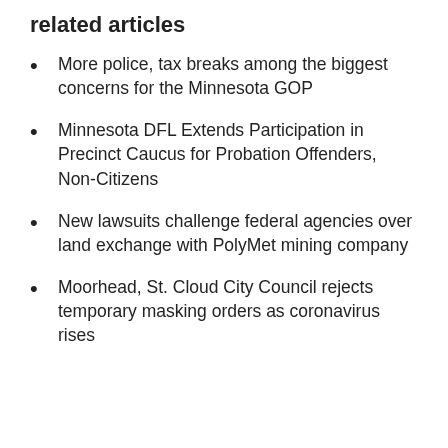related articles
More police, tax breaks among the biggest concerns for the Minnesota GOP
Minnesota DFL Extends Participation in Precinct Caucus for Probation Offenders, Non-Citizens
New lawsuits challenge federal agencies over land exchange with PolyMet mining company
Moorhead, St. Cloud City Council rejects temporary masking orders as coronavirus rises